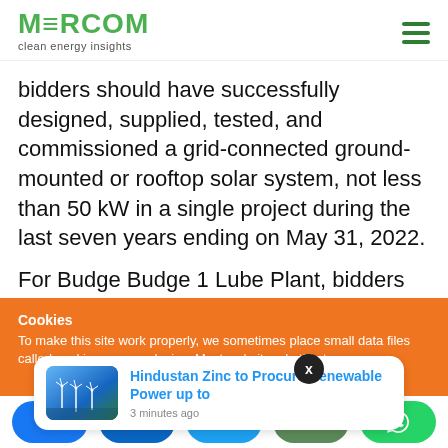MERCOM clean energy insights
bidders should have successfully designed, supplied, tested, and commissioned a grid-connected ground-mounted or rooftop solar system, not less than 50 kW in a single project during the last seven years ending on May 31, 2022.
For Budge Budge 1 Lube Plant, bidders should have
Cookies
To make this site work properly, we sometimes place small data files called cookies on your device. Most websites do this too.
[Figure (photo): Wind turbines on a coastal/offshore background, news card thumbnail]
Hindustan Zinc to Procure Renewable Power up to
3 minutes ago